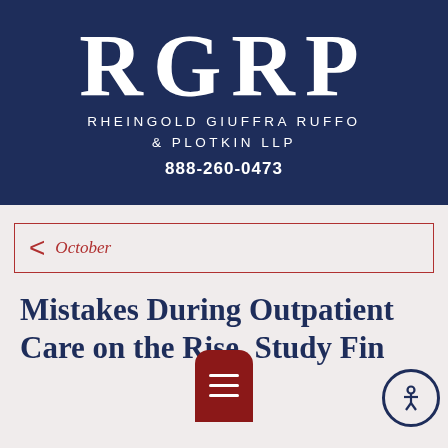[Figure (logo): RGRP law firm logo with large initials R G R P in white serif font on dark navy background, with full firm name 'RHEINGOLD GIUFFRA RUFFO & PLOTKIN LLP' below in spaced capitals, and phone number 888-260-0473]
October
Mistakes During Outpatient Care on the Rise, Study Finds